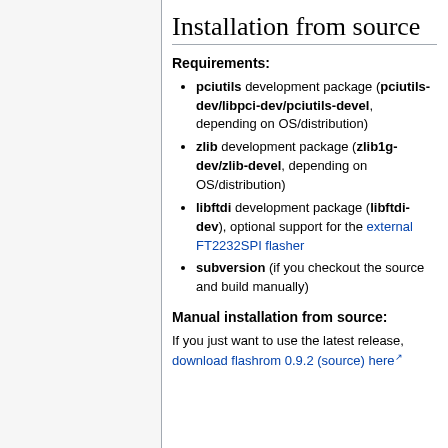Installation from source
Requirements:
pciutils development package (pciutils-dev/libpci-dev/pciutils-devel, depending on OS/distribution)
zlib development package (zlib1g-dev/zlib-devel, depending on OS/distribution)
libftdi development package (libftdi-dev), optional support for the external FT2232SPI flasher
subversion (if you checkout the source and build manually)
Manual installation from source:
If you just want to use the latest release, download flashrom 0.9.2 (source) here